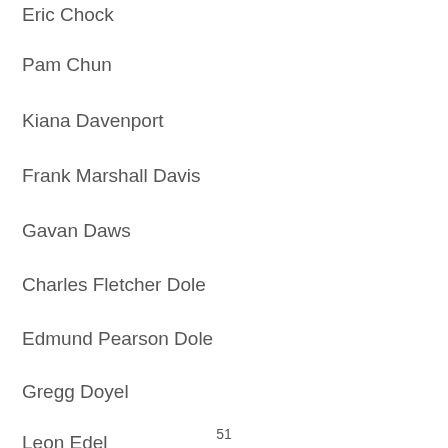Eric Chock
Pam Chun
Kiana Davenport
Frank Marshall Davis
Gavan Daws
Charles Fletcher Dole
Edmund Pearson Dole
Gregg Doyel
Leon Edel
51